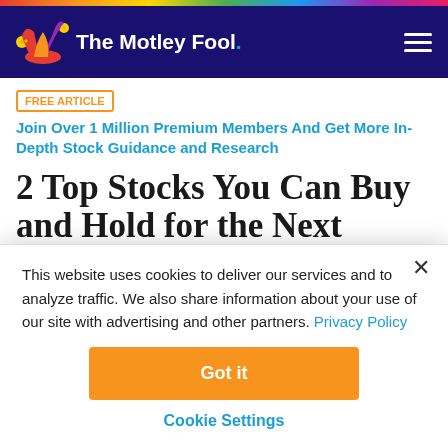The Motley Fool
FREE ARTICLE  Join Over 1 Million Premium Members And Get More In-Depth Stock Guidance and Research
2 Top Stocks You Can Buy and Hold for the Next Decade
By Reuben Gregg Brewer - Dec 14, 2017 at 8:29AM
This website uses cookies to deliver our services and to analyze traffic. We also share information about your use of our site with advertising and other partners. Privacy Policy
Got it
Cookie Settings